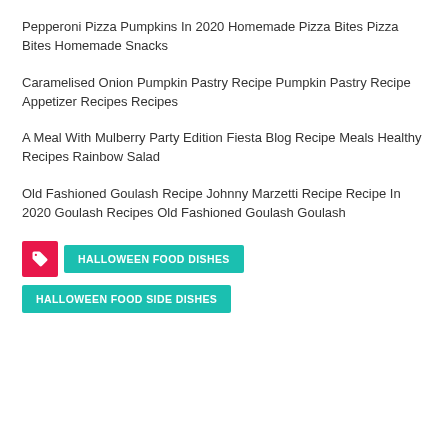Pepperoni Pizza Pumpkins In 2020 Homemade Pizza Bites Pizza Bites Homemade Snacks
Caramelised Onion Pumpkin Pastry Recipe Pumpkin Pastry Recipe Appetizer Recipes Recipes
A Meal With Mulberry Party Edition Fiesta Blog Recipe Meals Healthy Recipes Rainbow Salad
Old Fashioned Goulash Recipe Johnny Marzetti Recipe Recipe In 2020 Goulash Recipes Old Fashioned Goulash Goulash
HALLOWEEN FOOD DISHES
HALLOWEEN FOOD SIDE DISHES